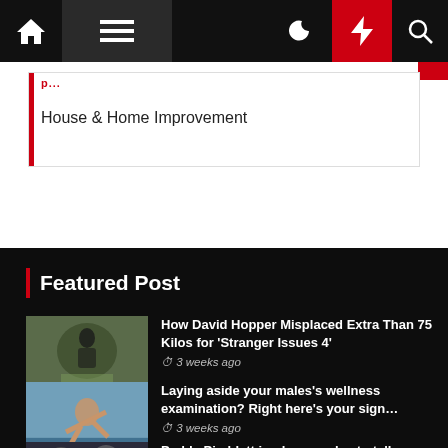Navigation bar with home, menu, moon, bolt, search icons
House & Home Improvement
Featured Post
How David Hopper Misplaced Extra Than 75 Kilos for 'Stranger Issues 4' — 3 weeks ago
Laying aside your males's wellness examination? Right here's your sign… — 3 weeks ago
Paddy Pimblett implores males to talk up on psychological well being…